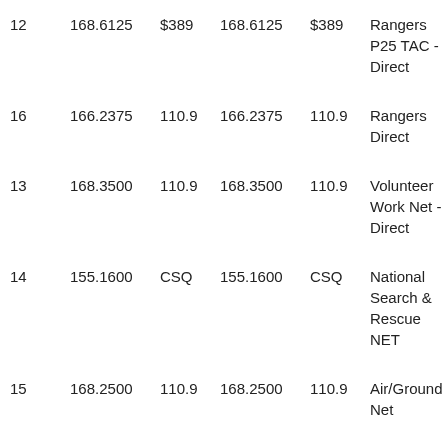| 12 | 168.6125 | $389 | 168.6125 | $389 | Rangers P25 TAC - Direct |
| 16 | 166.2375 | 110.9 | 166.2375 | 110.9 | Rangers Direct |
| 13 | 168.3500 | 110.9 | 168.3500 | 110.9 | Volunteer Work Net - Direct |
| 14 | 155.1600 | CSQ | 155.1600 | CSQ | National Search & Rescue NET |
| 15 | 168.2500 | 110.9 | 168.2500 | 110.9 | Air/Ground Net |
|  | 171.3625 | CSQ | 171.3625 | CSQ | Project Engineering |